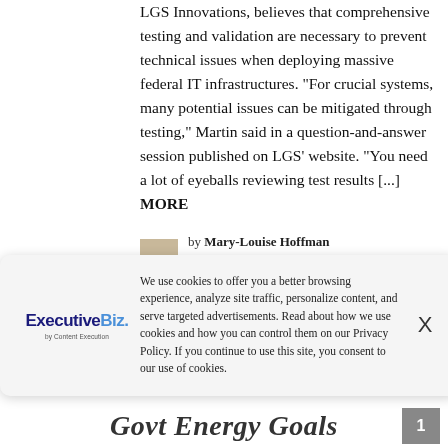LGS Innovations, believes that comprehensive testing and validation are necessary to prevent technical issues when deploying massive federal IT infrastructures. "For crucial systems, many potential issues can be mitigated through testing," Martin said in a question-and-answer session published on LGS' website. "You need a lot of eyeballs reviewing test results [...] MORE
by Mary-Louise Hoffman
February 13, 2014, 11:04 am
We use cookies to offer you a better browsing experience, analyze site traffic, personalize content, and serve targeted advertisements. Read about how we use cookies and how you can control them on our Privacy Policy. If you continue to use this site, you consent to our use of cookies.
Govt Energy Goals